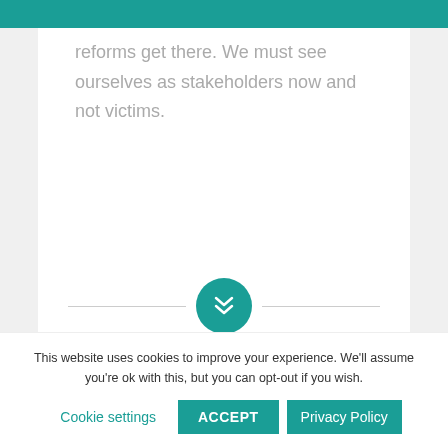reforms get there. We must see ourselves as stakeholders now and not victims.
[Figure (other): Teal circular button with double chevron/down arrow icon, flanked by horizontal divider lines]
Related Insights
This website uses cookies to improve your experience. We'll assume you're ok with this, but you can opt-out if you wish.
Cookie settings    ACCEPT    Privacy Policy